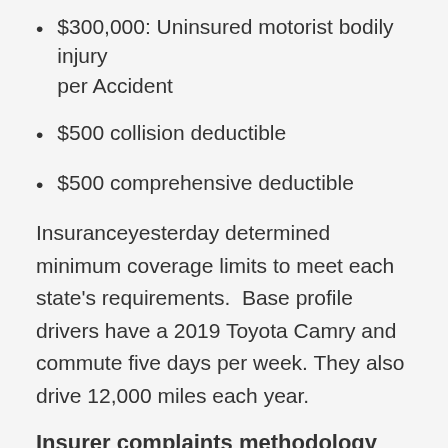$300,000: Uninsured motorist bodily injury per Accident
$500 collision deductible
$500 comprehensive deductible
Insuranceyesterday determined minimum coverage limits to meet each state's requirements.  Base profile drivers have a 2019 Toyota Camry and commute five days per week. They also drive 12,000 miles each year.
Insurer complaints methodology